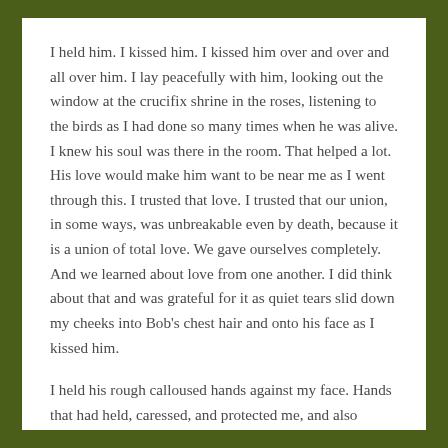I held him. I kissed him. I kissed him over and over and all over him. I lay peacefully with him, looking out the window at the crucifix shrine in the roses, listening to the birds as I had done so many times when he was alive. I knew his soul was there in the room. That helped a lot. His love would make him want to be near me as I went through this. I trusted that love. I trusted that our union, in some ways, was unbreakable even by death, because it is a union of total love. We gave ourselves completely. And we learned about love from one another. I did think about that and was grateful for it as quiet tears slid down my cheeks into Bob's chest hair and onto his face as I kissed him.
I held his rough calloused hands against my face. Hands that had held, caressed, and protected me, and also reached out for me in need or grasped mine in companionship and joy, or taken my own and pressed